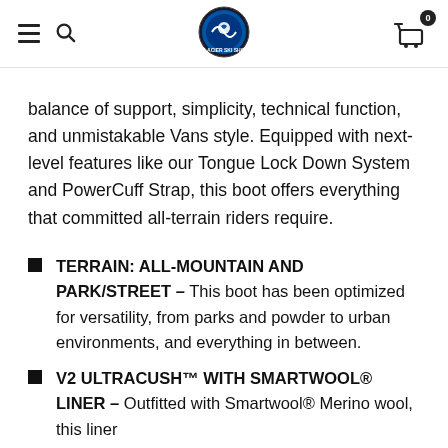Navigation header with hamburger menu, search icon, Glacier Ski Shop logo, and cart icon with badge 0
balance of support, simplicity, technical function, and unmistakable Vans style. Equipped with next-level features like our Tongue Lock Down System and PowerCuff Strap, this boot offers everything that committed all-terrain riders require.
TERRAIN: ALL-MOUNTAIN AND PARK/STREET – This boot has been optimized for versatility, from parks and powder to urban environments, and everything in between.
V2 ULTRACUSH™ WITH SMARTWOOL® LINER – Outfitted with Smartwool® Merino wool, this liner